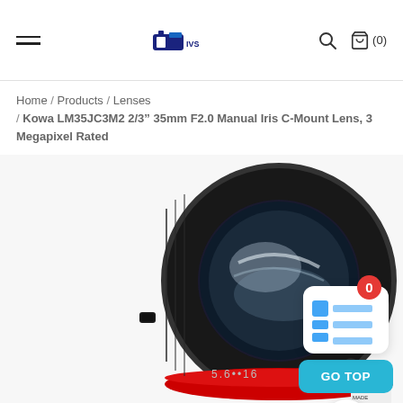Navigation header with hamburger menu, logo, search icon, and cart (0)
Home / Products / Lenses / Kowa LM35JC3M2 2/3″ 35mm F2.0 Manual Iris C-Mount Lens, 3 Megapixel Rated
[Figure (photo): Close-up photo of a Kowa LM35JC3M2 camera lens showing black barrel with red ring, lens glass element, and markings including f-stop scale and 'MADE' text]
[Figure (screenshot): GO TOP widget overlay with notification badge showing 0, blue grid icon, cyan GO TOP button, and chat bubble button]